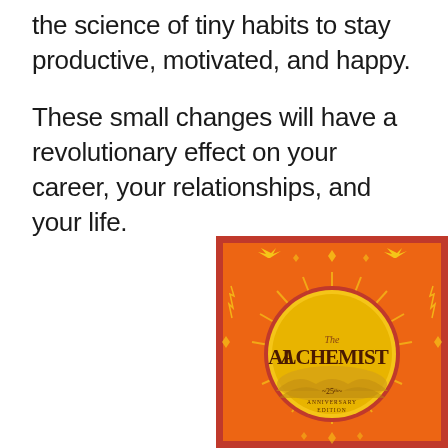the science of tiny habits to stay productive, motivated, and happy.

These small changes will have a revolutionary effect on your career, your relationships, and your life.
[Figure (illustration): Book cover of 'The Alchemist' 25th Anniversary Edition. Orange and red decorative cover with a golden sun circle in the center containing the title 'The Alchemist', stylized birds at the top, and intricate geometric patterns throughout.]